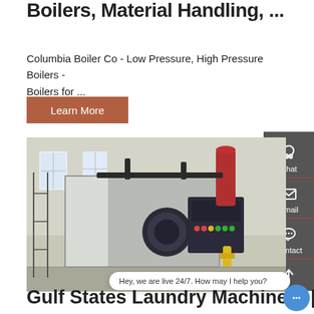Boilers, Material Handling, ...
Columbia Boiler Co - Low Pressure, High Pressure Boilers - Boilers for ...
Learn More
[Figure (photo): Industrial boiler equipment in a factory/warehouse setting. Large grey rectangular boiler unit with black piping, a red cylindrical chimney/stack, and a control panel with colored indicator lights. A yellow pipe is visible in the foreground.]
Hey, we are live 24/7. How may I help you?
Gulf States Laundry Machinery | Dry